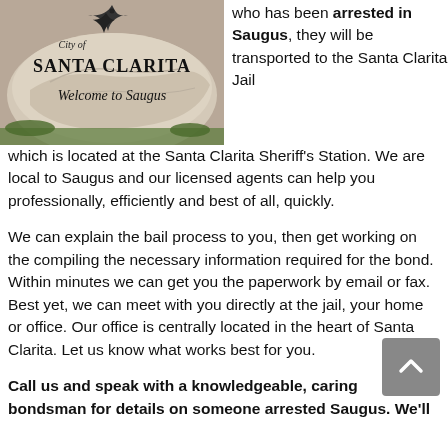[Figure (photo): A large rock sign reading 'City of SANTA CLARITA Welcome to Saugus' with a bird logo carved/painted on it, surrounded by greenery.]
who has been arrested in Saugus, they will be transported to the Santa Clarita Jail which is located at the Santa Clarita Sheriff's Station. We are local to Saugus and our licensed agents can help you professionally, efficiently and best of all, quickly.
We can explain the bail process to you, then get working on the compiling the necessary information required for the bond. Within minutes we can get you the paperwork by email or fax. Best yet, we can meet with you directly at the jail, your home or office. Our office is centrally located in the heart of Santa Clarita. Let us know what works best for you.
Call us and speak with a knowledgeable, caring bondsman for details on someone arrested Saugus. We'll